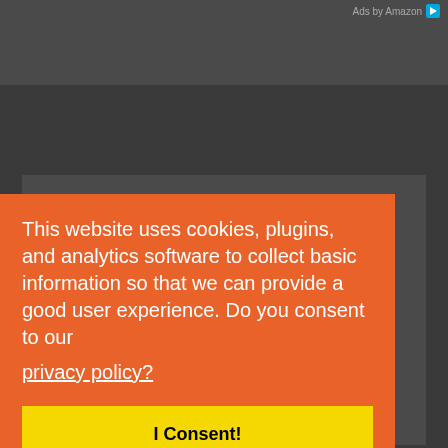Ads by Amazon
DISCLAIMER:
The information on this website is NOT intended to be
This website uses cookies, plugins, and analytics software to collect basic information so that we can provide a good user experience. Do you consent to our privacy policy?
I Consent!